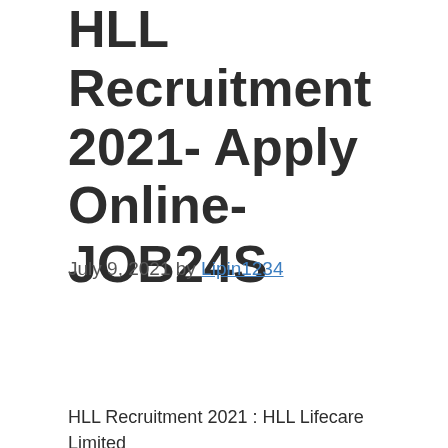HLL Recruitment 2021- Apply Online- JOB24S
July 9, 2021 by Lipin1234
HLL Recruitment 2021 : HLL Lifecare  Limited is a government organization from...